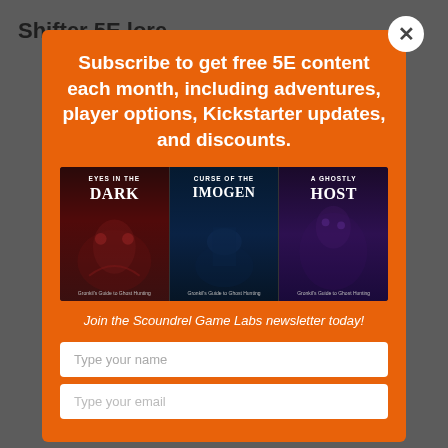Shifter 5E lore
Subscribe to get free 5E content each month, including adventures, player options, Kickstarter updates, and discounts.
[Figure (illustration): Three book covers side by side: 'Eyes in the Dark', 'Curse of the Imogen', 'A Ghostly Host', all from Gronkil's Guide to Ghost Hunting series, with dark fantasy artwork.]
Join the Scoundrel Game Labs newsletter today!
Type your name
Type your email